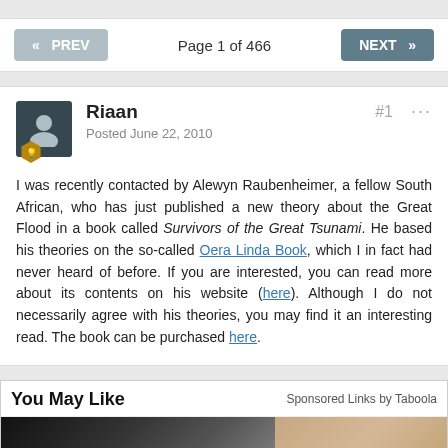« PREV   Page 1 of 466   NEXT »
Riaan
Posted June 22, 2010

I was recently contacted by Alewyn Raubenheimer, a fellow South African, who has just published a new theory about the Great Flood in a book called Survivors of the Great Tsunami. He based his theories on the so-called Oera Linda Book, which I in fact had never heard of before. If you are interested, you can read more about its contents on his website (here). Although I do not necessarily agree with his theories, you may find it an interesting read. The book can be purchased here.
You May Like   Sponsored Links by Taboola